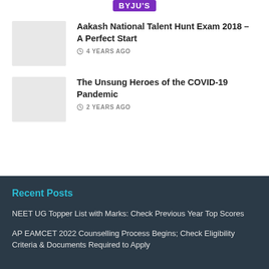[Figure (logo): BYJU's logo badge in purple]
Aakash National Talent Hunt Exam 2018 – A Perfect Start
4 YEARS AGO
The Unsung Heroes of the COVID-19 Pandemic
2 YEARS AGO
Recent Posts
NEET UG Topper List with Marks: Check Previous Year Top Scores
AP EAMCET 2022 Counselling Process Begins; Check Eligibility Criteria & Documents Required to Apply